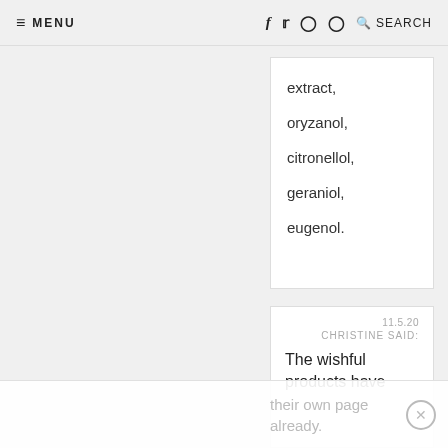≡ MENU   f  Twitter  Instagram  Pinterest  🔍 SEARCH
extract,
oryzanol,
citronellol,
geraniol,
eugenol.
11.5.20
CHRISTINE SAID:
The wishful products have their own page already.